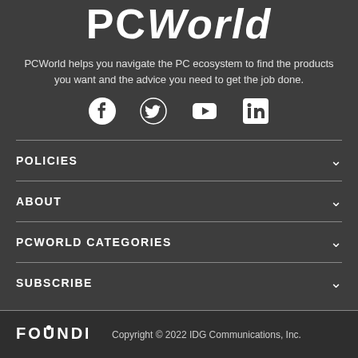PCWorld
PCWorld helps you navigate the PC ecosystem to find the products you want and the advice you need to get the job done.
[Figure (other): Social media icons: Facebook, Twitter, YouTube, LinkedIn]
POLICIES
ABOUT
PCWORLD CATEGORIES
SUBSCRIBE
FOUNDRY  Copyright © 2022 IDG Communications, Inc.